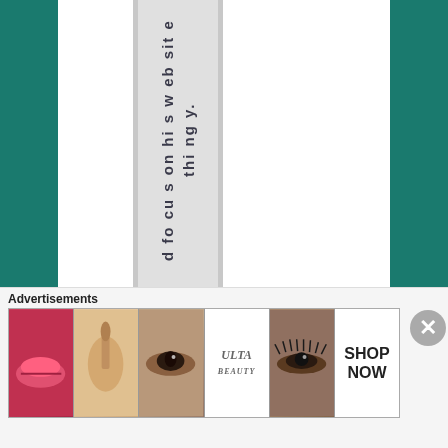d fo cu s on hi s w eb sit e thi ng y. On M ar
Advertisements
[Figure (illustration): Advertisements banner with beauty/cosmetics ad images including lips, brush, eye, Ulta Beauty logo, lashes, and SHOP NOW text. A close (X) button appears in the lower right.]